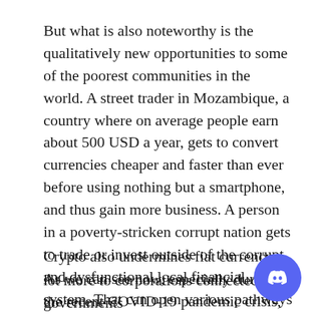But what is also noteworthy is the qualitatively new opportunities to some of the poorest communities in the world. A street trader in Mozambique, a country where on average people earn about 500 USD a year, gets to convert currencies cheaper and faster than ever before using nothing but a smartphone, and thus gain more business. A person in a poverty-stricken corrupt nation gets to trade or invest outside of the corrupt and dysfunctional local financial system. That can open various pathways to wealth to those whose prospects were near hopeless in the past.
Crypto also undermines fiat currency. As we can see now, especially during the recent COVID-19 pandemic crisis, fiat currency, issued by governments and distributed to the population b… lot more to corporations connected to governments…